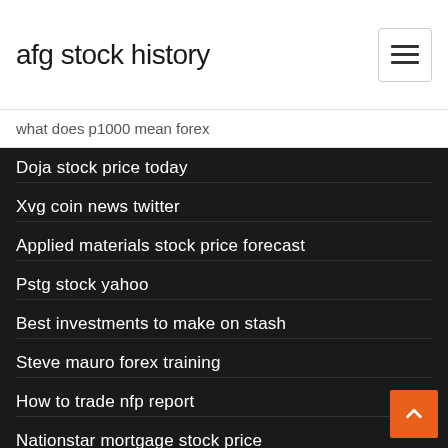afg stock history
what does p1000 mean forex
Doja stock price today
Xvg coin news twitter
Applied materials stock price forecast
Pstg stock yahoo
Best investments to make on stash
Steve mauro forex training
How to trade nfp report
Nationstar mortgage stock price
Best stock exchange movies
Best bitcoin atm machine to buy